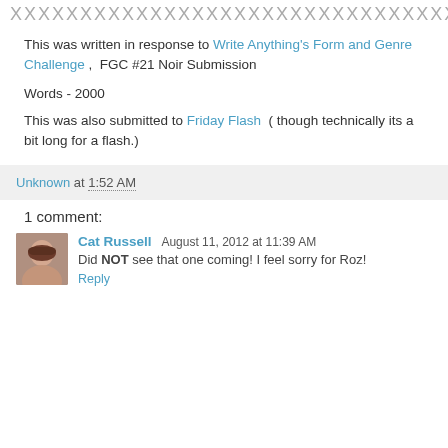[Figure (illustration): Decorative zigzag/wavy border pattern made of repeating X characters]
This was written in response to Write Anything's Form and Genre Challenge ,  FGC #21 Noir Submission
Words - 2000
This was also submitted to Friday Flash  ( though technically its a bit long for a flash.)
Unknown at 1:52 AM
1 comment:
Cat Russell  August 11, 2012 at 11:39 AM
Did NOT see that one coming! I feel sorry for Roz!
Reply